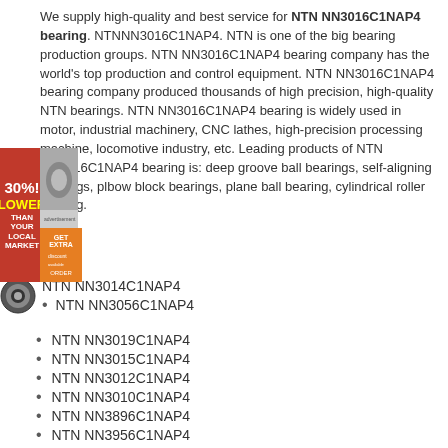We supply high-quality and best service for NTN NN3016C1NAP4 bearing. NTNNN3016C1NAP4. NTN is one of the big bearing production groups. NTN NN3016C1NAP4 bearing company has the world's top production and control equipment. NTN NN3016C1NAP4 bearing company produced thousands of high precision, high-quality NTN bearings. NTN NN3016C1NAP4 bearing is widely used in motor, industrial machinery, CNC lathes, high-precision processing machine, locomotive industry, etc. Leading products of NTN NN3016C1NAP4 bearing is: deep groove ball bearings, self-aligning bearings, plbow block bearings, plane ball bearing, cylindrical roller bearing.
NTN NN3014C1NAP4
NTN NN3056C1NAP4
NTN NN3019C1NAP4
NTN NN3015C1NAP4
NTN NN3012C1NAP4
NTN NN3010C1NAP4
NTN NN3896C1NAP4
NTN NN3956C1NAP4
Packaging Details :
1 . Industrial tube packing + cartons + pallets
2 . Individual colorful or white box + carton + pallets
3 . As the clients ' requirement